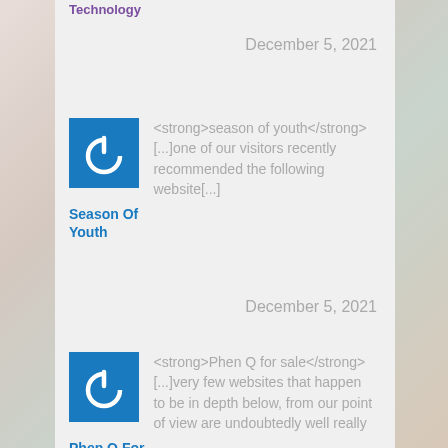Technology
December 5, 2021
[Figure (logo): Blue square with white power button icon]
<strong>season of youth</strong> [...]one of our visitors recently recommended the following website[...]
Season Of Youth
December 5, 2021
[Figure (logo): Blue square with white power button icon]
<strong>Phen Q for sale</strong> [...]very few websites that happen to be in depth below, from our point of view are undoubtedly well really
Phen Q For Sale